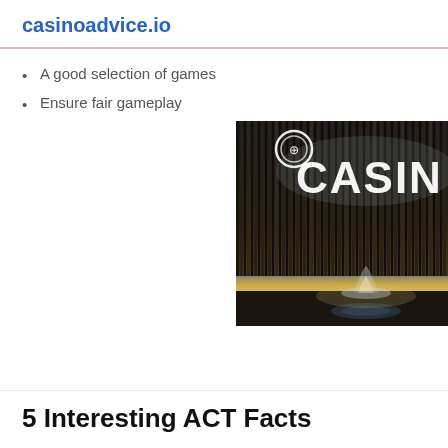casinoadvice.io
A good selection of games
Ensure fair gameplay
[Figure (photo): Illuminated casino sign at night with golden vertical bars and glowing 'CASIN' lettering with a fountain below]
5 Interesting ACT Facts